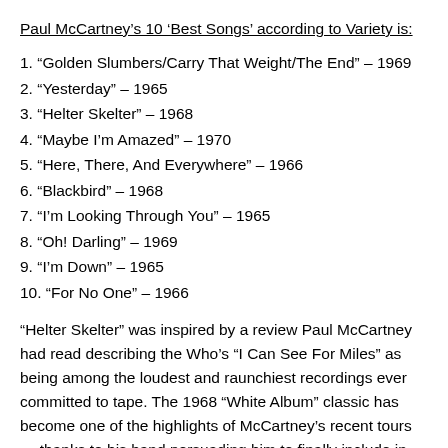Paul McCartney's 10 'Best Songs' according to Variety is:
1. “Golden Slumbers/Carry That Weight/The End” – 1969
2. “Yesterday” – 1965
3. “Helter Skelter” – 1968
4. “Maybe I’m Amazed” – 1970
5. “Here, There, And Everywhere” – 1966
6. “Blackbird” – 1968
7. “I’m Looking Through You” – 1965
8. “Oh! Darling” – 1969
9. “I’m Down” – 1965
10. “For No One” – 1966
“Helter Skelter” was inspired by a review Paul McCartney had read describing the Who’s “I Can See For Miles” as being among the loudest and raunchiest recordings ever committed to tape. The 1968 “White Album” classic has become one of the highlights of McCartney’s recent tours — thanks to his band persuading him to finally include in their setlists. McCartney recalled the Beatles’